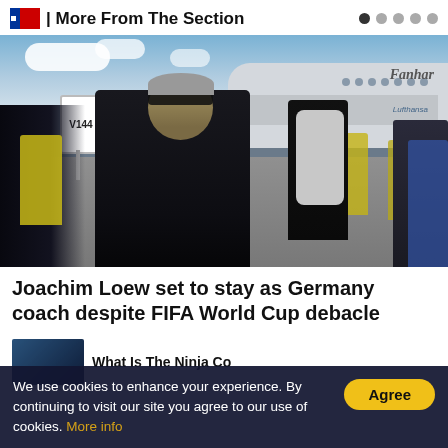More From The Section
[Figure (photo): Joachim Loew wearing sunglasses and a dark polo shirt on an airport tarmac, with people in yellow vests in background and a Lufthansa airplane visible. Sign V144 visible in background. A person carrying a white backpack is visible to the right.]
Joachim Loew set to stay as Germany coach despite FIFA World Cup debacle
What Is The Ninja Co
We use cookies to enhance your experience. By continuing to visit our site you agree to our use of cookies. More info